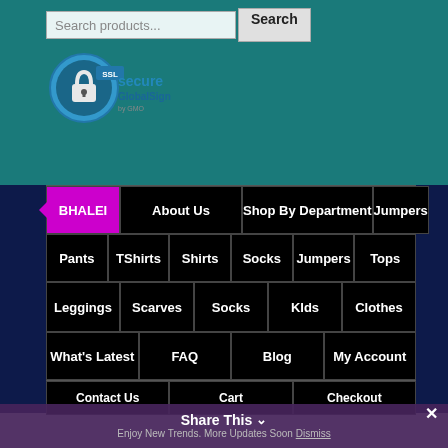[Figure (screenshot): Search bar with input field 'Search products...' and Search button]
[Figure (logo): SSL Secure GlobalSign by GMO logo]
BHALEI | About Us | Shop By Department | Jumpers
Pants | TShirts | Shirts | Socks | Jumpers | Tops
Leggings | Scarves | Socks | KIds | Clothes
What's Latest | FAQ | Blog | My Account
Contact Us | Cart | Checkout
Share This  Enjoy New Trends. More Updates Soon Dismiss